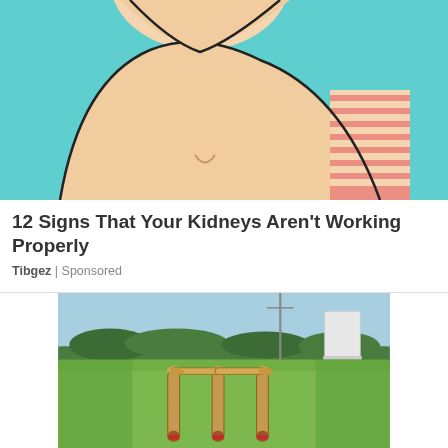[Figure (illustration): Illustration of a human torso/midsection showing the kidney area, drawn in cartoon style with a teal/cyan background. The figure wears a light-colored top with pink/red horizontal stripes on the side.]
12 Signs That Your Kidneys Aren't Working Properly
Tibgez | Sponsored
[Figure (photo): Photograph of cricket stumps and bails set up on a green cricket field, with trees and a sight screen visible in the background under a blue sky.]